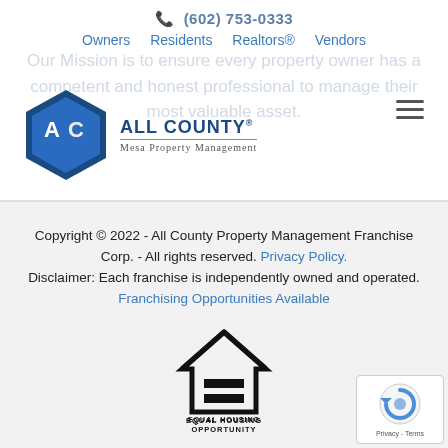(602) 753-0333
Owners  Residents  Realtors®  Vendors
Our Mission is to ensure every property owner has a competent and honest professional to manage their most valuable asset.
[Figure (logo): All County Mesa Property Management logo — hexagon icon with AC letters and company name]
Copyright © 2022 - All County Property Management Franchise Corp. - All rights reserved. Privacy Policy. Disclaimer: Each franchise is independently owned and operated. Franchising Opportunities Available
[Figure (logo): Equal Housing Opportunity logo — house with equals sign and text EQUAL HOUSING OPPORTUNITY]
[Figure (logo): Google reCAPTCHA badge with Privacy and Terms links]